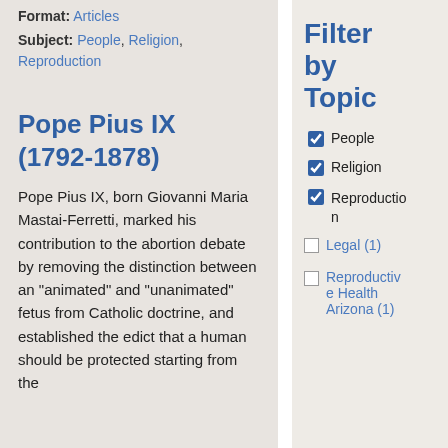Format: Articles
Subject: People, Religion, Reproduction
Pope Pius IX (1792-1878)
Pope Pius IX, born Giovanni Maria Mastai-Ferretti, marked his contribution to the abortion debate by removing the distinction between an "animated" and "unanimated" fetus from Catholic doctrine, and established the edict that a human should be protected starting from the
Filter by Topic
People (checked)
Religion (checked)
Reproduction (checked)
Legal (1) (unchecked)
Reproductive Health Arizona (1) (unchecked)